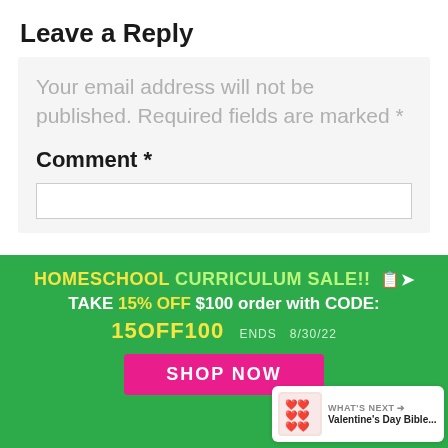Leave a Reply
Your email address will not be published. Required fields are marked *
Comment *
[Figure (infographic): Homeschool curriculum sale advertisement banner: green background, yellow and white bold text reading 'HOMESCHOOL CURRICULUM SALE!! TAKE 15% OFF $100 order with CODE: 15OFF100 ENDS 8/30/22', with a pink 'SHOP NOW' button. Social sharing widget and Valentine's Day Bible next card visible.]